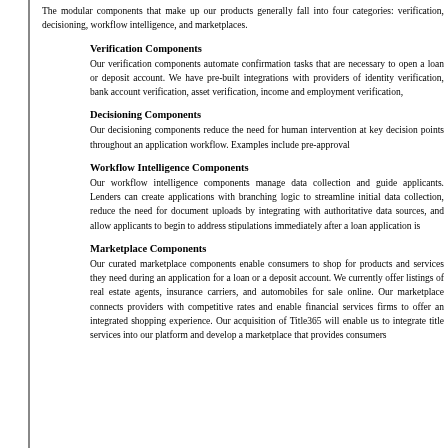The modular components that make up our products generally fall into four categories: verification, decisioning, workflow intelligence, and marketplaces.
Verification Components
Our verification components automate confirmation tasks that are necessary to open a loan or deposit account. We have pre-built integrations with providers of identity verification, bank account verification, asset verification, income and employment verification,
Decisioning Components
Our decisioning components reduce the need for human intervention at key decision points throughout an application workflow. Examples include pre-approval
Workflow Intelligence Components
Our workflow intelligence components manage data collection and guide applicants. Lenders can create applications with branching logic to streamline initial data collection, reduce the need for document uploads by integrating with authoritative data sources, and allow applicants to begin to address stipulations immediately after a loan application is
Marketplace Components
Our curated marketplace components enable consumers to shop for products and services they need during an application for a loan or a deposit account. We currently offer listings of real estate agents, insurance carriers, and automobiles for sale online. Our marketplace connects providers with competitive rates and enable financial services firms to offer an integrated shopping experience. Our acquisition of Title365 will enable us to integrate title services into our platform and develop a marketplace that provides consumers